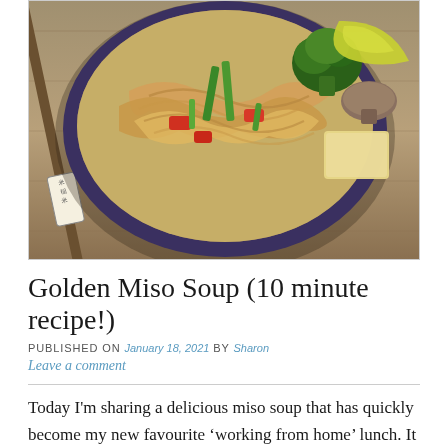[Figure (photo): Overhead view of a bowl of golden miso soup with noodles, tofu, red peppers, green vegetables, broccoli, lemon wedge, mushroom, and chopsticks resting beside the bowl on a wooden surface]
Golden Miso Soup (10 minute recipe!)
PUBLISHED ON January 18, 2021 by Sharon
Leave a comment
Today I'm sharing a delicious miso soup that has quickly become my new favourite 'working from home' lunch. It takes just 10 minutes to prepare and is so